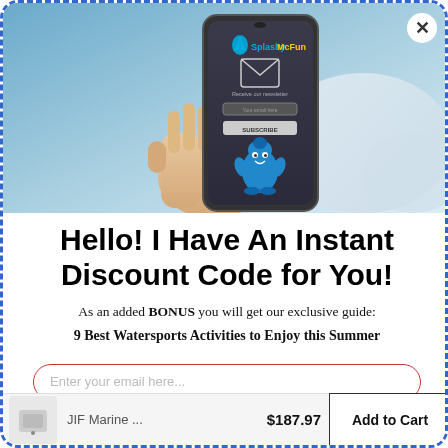[Figure (screenshot): A hand holding a smartphone displaying the SplashyMcFun newsletter subscription popup with logo, envelope icon, email field, SUBSCRIBE button, and a blue water drop mascot character. Background shows a blurred bed/pillow scene.]
Hello! I Have An Instant Discount Code for You!
As an added BONUS you will get our exclusive guide: 9 Best Watersports Activities to Enjoy this Summer
Enter your email here...
JIF Marine ... $187.97 Add to Cart